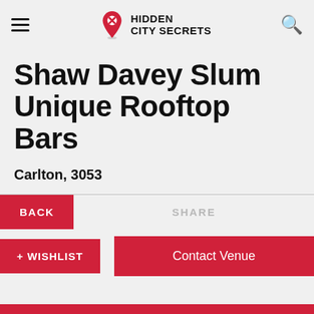HIDDEN CITY SECRETS
Shaw Davey Slum Unique Rooftop Bars
Carlton, 3053
BACK
SHARE
+ WISHLIST
Contact Venue